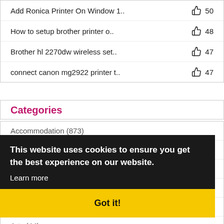Add Ronica Printer On Window 1.. 👍 50
How to setup brother printer o.. 👍 48
Brother hl 2270dw wireless set.. 👍 47
connect canon mg2922 printer t.. 👍 47
Categories
Accommodation (873)
Advertising and Marketing (210)
Agriculture (91)
Alternative Medicine (3)
Animal (38)
Arts (44)
Automotive (83)
This website uses cookies to ensure you get the best experience on our website.
Learn more
Got it!